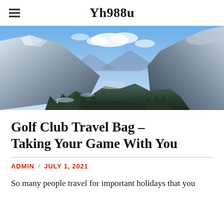Yh988u
[Figure (photo): Panoramic mountain landscape with snow-capped peaks, blue sky with clouds, and forested valley]
Golf Club Travel Bag – Taking Your Game With You
ADMIN / JULY 1, 2021
So many people travel for important holidays that you